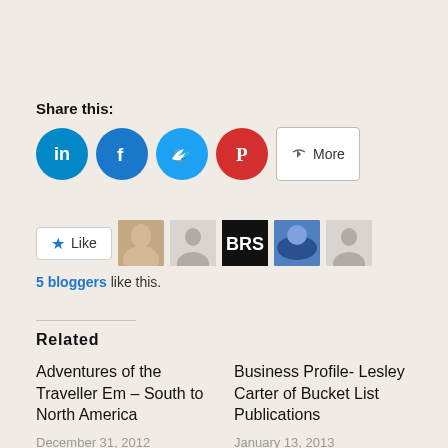Share this:
[Figure (infographic): Social sharing buttons: LinkedIn (blue circle with 'in'), Facebook (blue circle with 'f'), Twitter (cyan circle with bird), Pinterest (red circle with 'P'), and a More button with share icon]
[Figure (infographic): Like button with star icon, followed by 5 blogger avatar thumbnails: a person photo, a silhouette placeholder, a BRS logo, a blue sky image, and another silhouette placeholder]
5 bloggers like this.
Related
Adventures of the Traveller Em – South to North America
December 31, 2012
In "Articles"
Business Profile- Lesley Carter of Bucket List Publications
January 13, 2013
In "Business Profiles"